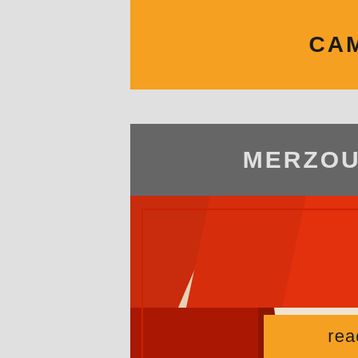CAMEL TREKKING
MERZOUGA DESERT CAMP
[Figure (photo): Interior of a luxury desert camp tent with red and white striped fabric ceiling, a bed with patterned black and white bedspread, red decorative pillows, and a warm glowing table lamp in the background]
read more